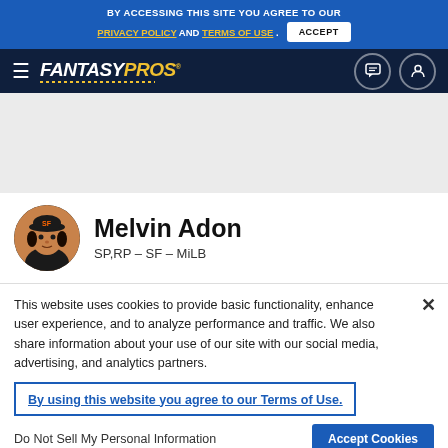BY ACCESSING THIS SITE YOU AGREE TO OUR PRIVACY POLICY AND TERMS OF USE. ACCEPT
[Figure (logo): FantasyPros logo on dark navy navigation bar with hamburger menu icon, chat icon, and user icon]
[Figure (photo): Gray advertisement/placeholder area]
[Figure (photo): Melvin Adon player headshot photo wearing SF Giants cap]
Melvin Adon
SP,RP – SF – MiLB
This website uses cookies to provide basic functionality, enhance user experience, and to analyze performance and traffic. We also share information about your use of our site with our social media, advertising, and analytics partners.
By using this website you agree to our Terms of Use.
Do Not Sell My Personal Information
Accept Cookies